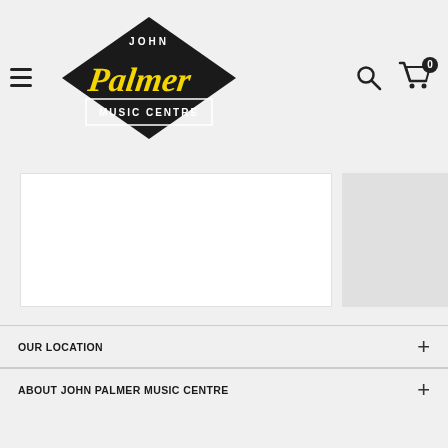John Palmer Music Centre - website header with logo, hamburger menu, search and cart icons
[Figure (logo): John Palmer Music Centre logo - diamond shape with yellow script 'Palmer' text and 'MUSIC CENTRE' below]
OUR LOCATION
ABOUT JOHN PALMER MUSIC CENTRE
NAVIGATIONS
NEWSLETTER